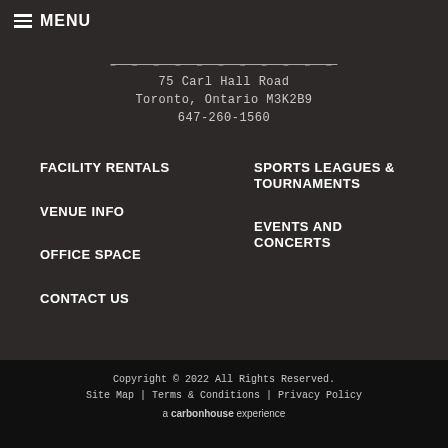MENU
75 Carl Hall Road
Toronto, Ontario M3K2B9
647-260-1560
FACILITY RENTALS
VENUE INFO
OFFICE SPACE
CONTACT US
SPORTS LEAGUES & TOURNAMENTS
EVENTS AND CONCERTS
Copyright © 2022 All Rights Reserved.
Site Map | Terms & Conditions | Privacy Policy
a carbonhouse experience